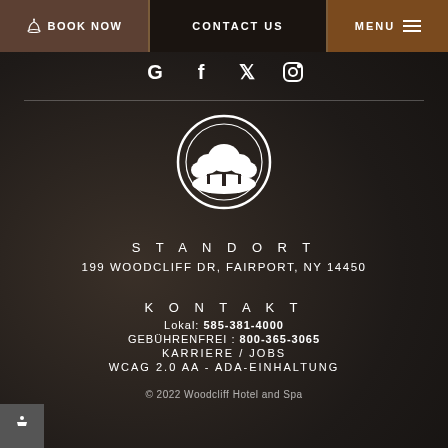BOOK NOW | CONTACT US | MENU
[Figure (logo): Social media icons: Google, Facebook, Twitter, Instagram]
[Figure (logo): Woodcliff Hotel and Spa circular logo with tree silhouette]
STANDORT
199 WOODCLIFF DR, FAIRPORT, NY 14450
KONTAKT
Lokal: 585-381-4000
GEBÜHRENFREI: 800-365-3065
KARRIERE / JOBS
WCAG 2.0 AA - ADA-EINHALTUNG
© 2022 Woodcliff Hotel and Spa